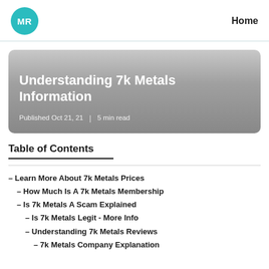MR  Home
[Figure (illustration): Article hero banner with gradient gray background showing article title 'Understanding 7k Metals Information' and metadata 'Published Oct 21, 21 | 5 min read']
Understanding 7k Metals Information
Published Oct 21, 21 | 5 min read
Table of Contents
– Learn More About 7k Metals Prices
– How Much Is A 7k Metals Membership
– Is 7k Metals A Scam Explained
– Is 7k Metals Legit - More Info
– Understanding 7k Metals Reviews
– 7k Metals Company Explanation